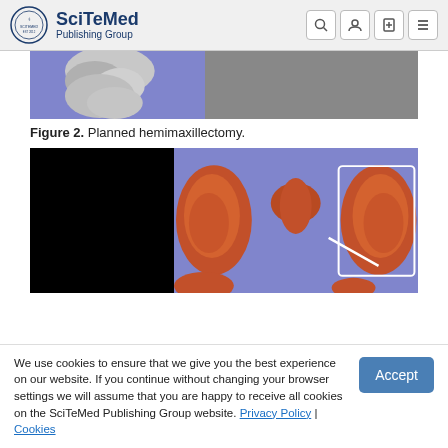SciTeMed Publishing Group
[Figure (photo): Partial view of a 3D CT scan showing planned hemimaxillectomy — bone model on purple/blue background]
Figure 2. Planned hemimaxillectomy.
[Figure (photo): 3D CT render of pelvis/hip bones in orange-red on purple background, with black panel on the left side]
We use cookies to ensure that we give you the best experience on our website. If you continue without changing your browser settings we will assume that you are happy to receive all cookies on the SciTeMed Publishing Group website. Privacy Policy | Cookies